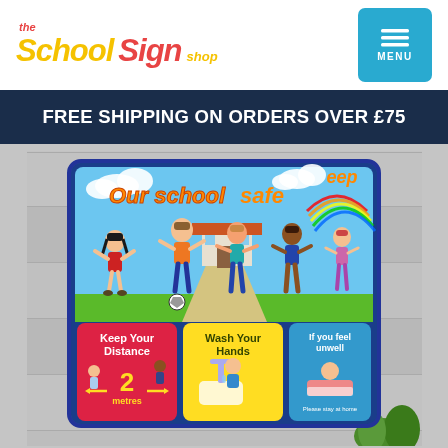[Figure (logo): The School Sign shop logo with colorful italic text]
[Figure (other): Teal/cyan hamburger menu button labeled MENU]
FREE SHIPPING ON ORDERS OVER £75
[Figure (photo): School safety sign mounted on a wooden wall showing children playing, with sub-panels: Keep Your Distance 2 metres, Wash Your Hands, If you feel unwell. Sign reads 'Our school safe' and 'keep']